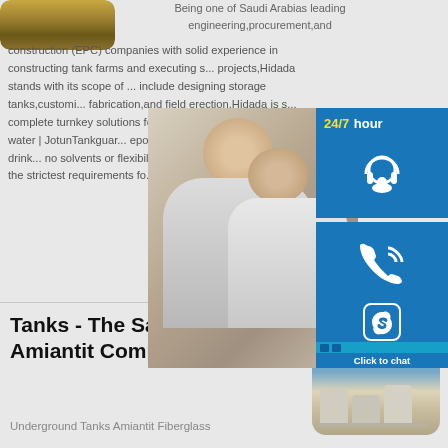[Figure (photo): Top-left thumbnail showing a landscape/field scene with golden tones]
Being one of Saudi Arabias leading engineering,procurement,and construction (EPC) companies with solid experience in constructing tank farms and executing s... projects,Hidada stands with its scope of ... include designing storage tanks,customi... fabrication,and field erection.Hidada is s... complete turnkey solutions for Bulk Tank... epoxy for drinking water | JotunTankgua... epoxy designed for use in tanks for drink... no solvents or flexibilisers such as benzy... DW passes the strictest requirements fo... 6920.
[Figure (screenshot): 24/7 hour chat widget overlay with customer service agent photo, phone icon, Skype icon, and Click to chat button]
Tanks - The Saudi Arabian Amiantit Company
Underground Tanks Amiantit Fiberglass
[Figure (photo): Bottom-right thumbnail showing industrial storage tanks against a blue sky with sun]